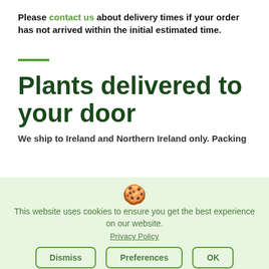Please contact us about delivery times if your order has not arrived within the initial estimated time.
Plants delivered to your door
We ship to Ireland and Northern Ireland only. Packing
This website uses cookies to ensure you get the best experience on our website.
Privacy Policy
Dismiss  Preferences  OK